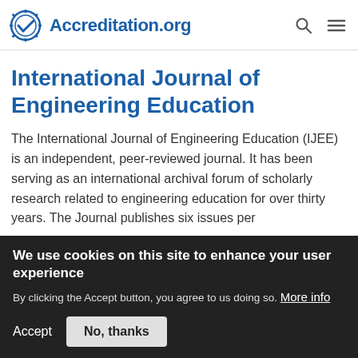Accreditation.org
International Journal of Engineering Education
The International Journal of Engineering Education (IJEE) is an independent, peer-reviewed journal. It has been serving as an international archival forum of scholarly research related to engineering education for over thirty years. The Journal publishes six issues per
We use cookies on this site to enhance your user experience
By clicking the Accept button, you agree to us doing so. More info
Accept  No, thanks